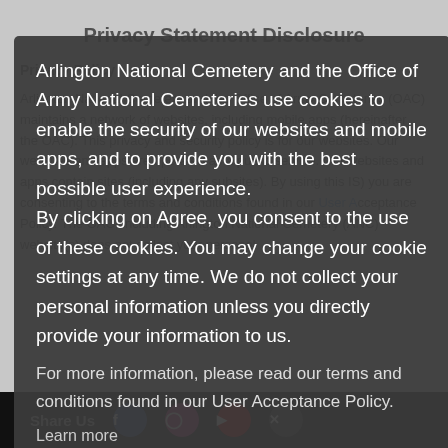Privacy Statement Disclosure
Privacy Policy
Arlington National Cemetery and the Office of Army Cemeteries (OAC) maintains a network of websites, including mobile apps (hereinafter the OAC). This privacy and security policy is for our websites. Our websites and apps are operated as a public service. Our websites and apps contain sites (including any subsites). By using this IS) you are consenting to the terms and conditions found in our User Acceptance Policy. The OAC, including Arlington National Cemetery (ANC) website(s) does not collect your personal
Arlington National Cemetery and the Office of Army National Cemeteries use cookies to enable the security of our websites and mobile apps, and to provide you with the best possible user experience. By clicking on Agree, you consent to the use of these cookies. You may change your cookie settings at any time. We do not collect your personal information unless you directly provide your information to us.
For more information, please read our terms and conditions found in our User Acceptance Policy.
Learn more
I Agree